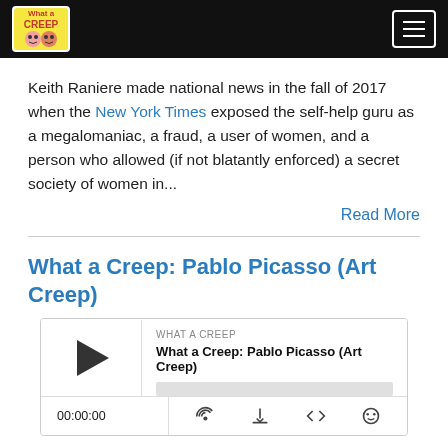What a Creep — navigation header
Keith Raniere made national news in the fall of 2017 when the New York Times exposed the self-help guru as a megalomaniac, a fraud, a user of women, and a person who allowed (if not blatantly enforced) a secret society of women in...
Read More
What a Creep: Pablo Picasso (Art Creep)
[Figure (other): Podcast audio player widget showing 'What a Creep: Pablo Picasso (Art Creep)' episode with play button, progress bar, time display 00:00:00, and control icons for RSS, download, embed, and settings]
Nov 22, 2020